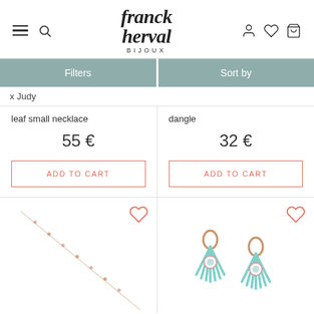franck herval BIJOUX
Filters | Sort by
x Judy
leaf small necklace
55 €
ADD TO CART
dangle
32 €
ADD TO CART
[Figure (photo): Rose gold chain necklace with small pink beads, displayed diagonally on white background with heart wishlist icon]
[Figure (photo): Pair of gold earrings with turquoise and pink fan/sunburst shape dangling charms on white background with heart wishlist icon]